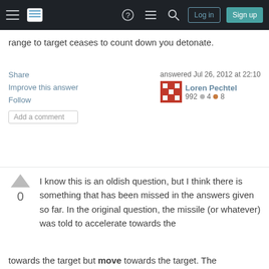Stack Exchange navigation bar with hamburger menu, logo, help, chat, search icons, Log in and Sign up buttons
range to target ceases to count down you detonate.
Share  Improve this answer  Follow  Add a comment
answered Jul 26, 2012 at 22:10  Loren Pechtel  992  ●4  ●8
I know this is an oldish question, but I think there is something that has been missed in the answers given so far. In the original question, the missile (or whatever) was told to accelerate towards the
[Figure (other): Privacy consent banner overlay with title 'Your privacy', body text, Accept all cookies and Customize settings buttons]
towards the target but move towards the target. The